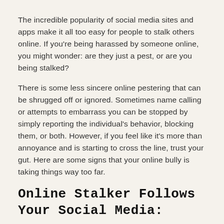The incredible popularity of social media sites and apps make it all too easy for people to stalk others online. If you're being harassed by someone online, you might wonder: are they just a pest, or are you being stalked?
There is some less sincere online pestering that can be shrugged off or ignored. Sometimes name calling or attempts to embarrass you can be stopped by simply reporting the individual's behavior, blocking them, or both. However, if you feel like it's more than annoyance and is starting to cross the line, trust your gut. Here are some signs that your online bully is taking things way too far.
Online Stalker Follows Your Social Media:
Stalkers will want to watch everything you're posting and doing online. They want to always...